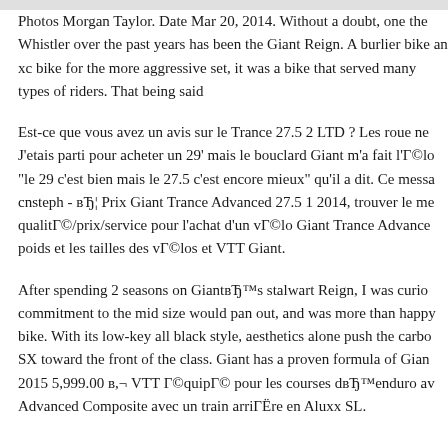Photos Morgan Taylor. Date Mar 20, 2014. Without a doubt, one the Whistler over the past years has been the Giant Reign. A burlier bike an xc bike for the more aggressive set, it was a bike that served many types of riders. That being said
Est-ce que vous avez un avis sur le Trance 27.5 2 LTD ? Les roue ne J'etais parti pour acheter un 29' mais le bouclard Giant m'a fait l'Г©lo "le 29 c'est bien mais le 27.5 c'est encore mieux" qu'il a dit. Ce messa cnsteph - вЂ¦ Prix Giant Trance Advanced 27.5 1 2014, trouver le me qualitГ©/prix/service pour l'achat d'un vГ©lo Giant Trance Advance poids et les tailles des vГ©los et VTT Giant.
After spending 2 seasons on GiantвЂ™s stalwart Reign, I was curio commitment to the mid size would pan out, and was more than happy bike. With its low-key all black style, aesthetics alone push the carbo SX toward the front of the class. Giant has a proven formula of Gian 2015 5,999.00 в,¬ VTT Г©quipГ© pour les courses dвЂ™enduro av Advanced Composite avec un train arriГЁre en Aluxx SL.